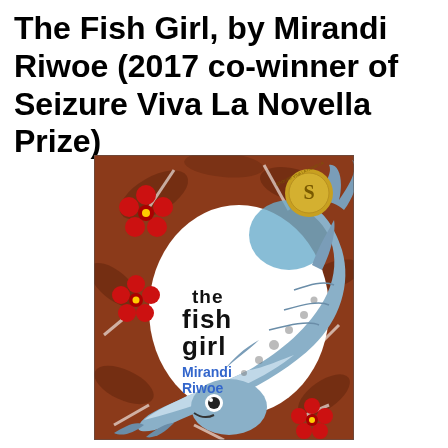The Fish Girl, by Mirandi Riwoe (2017 co-winner of Seizure Viva La Novella Prize)
[Figure (illustration): Book cover of 'The Fish Girl' by Mirandi Riwoe. Illustrated cover showing a large stylized fish curving in the center against a white oval background, surrounded by red hibiscus flowers and brown/red tropical leaf patterns. The title 'the fish girl' is written in bold black hand-lettered font, and the author name 'Mirandi Riwoe' is written in blue below it. A gold circular award seal/stamp is visible in the upper right corner.]